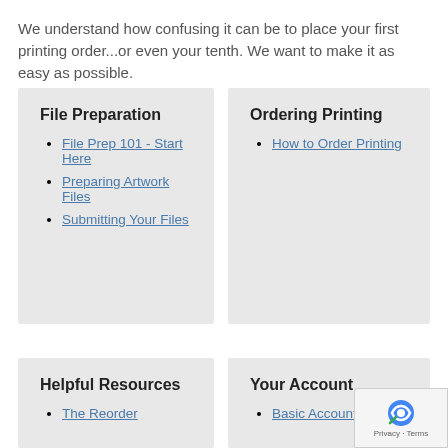We understand how confusing it can be to place your first printing order...or even your tenth. We want to make it as easy as possible.
File Preparation
File Prep 101 - Start Here
Preparing Artwork Files
Submitting Your Files
Ordering Printing
How to Order Printing
Helpful Resources
The Reorder
Your Account
Basic Account